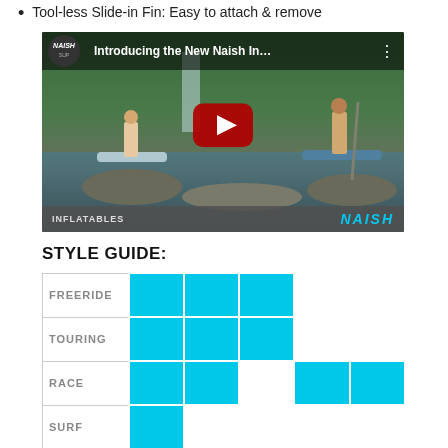Tool-less Slide-in Fin: Easy to attach & remove
[Figure (screenshot): YouTube video thumbnail for 'Introducing the New Naish In...' showing two people on paddleboards on a river. Naish SUP branding visible. Red play button in center. Bottom bar shows 'INFLATABLES' and 'NAISH' logo.]
STYLE GUIDE:
|  | Col1 | Col2 | Col3 | Col4 | Col5 |
| --- | --- | --- | --- | --- | --- |
| FREERIDE | cyan | cyan | cyan |  |  |
| TOURING | cyan | cyan | cyan |  |  |
| RACE | cyan | cyan |  | cyan | cyan |
| SURF | cyan |  |  |  |  |